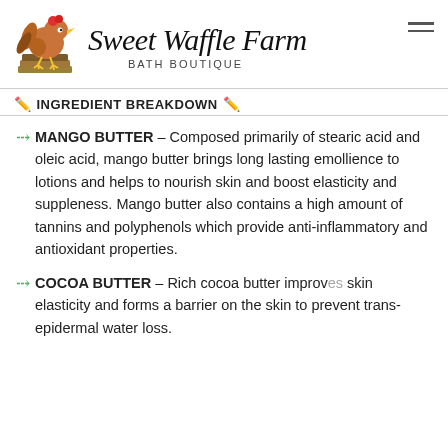Sweet Waffle Farm BATH BOUTIQUE
✏ INGREDIENT BREAKDOWN ✏
MANGO BUTTER – Composed primarily of stearic acid and oleic acid, mango butter brings long lasting emollience to lotions and helps to nourish skin and boost elasticity and suppleness. Mango butter also contains a high amount of tannins and polyphenols which provide anti-inflammatory and antioxidant properties.
COCOA BUTTER – Rich cocoa butter improves skin elasticity and forms a barrier on the skin to prevent trans-epidermal water loss.